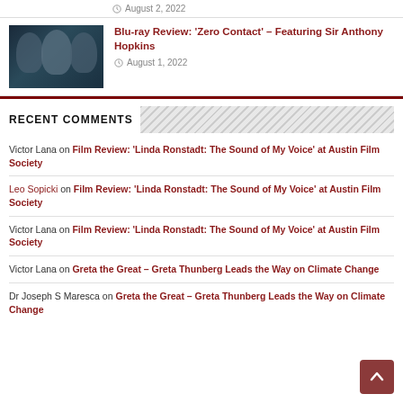[Figure (photo): Movie thumbnail image (partial, cropped at top)]
August 2, 2022
[Figure (photo): Blu-ray cover or movie still showing three faces against dark blue background]
Blu-ray Review: 'Zero Contact' – Featuring Sir Anthony Hopkins
August 1, 2022
RECENT COMMENTS
Victor Lana on Film Review: 'Linda Ronstadt: The Sound of My Voice' at Austin Film Society
Leo Sopicki on Film Review: 'Linda Ronstadt: The Sound of My Voice' at Austin Film Society
Victor Lana on Film Review: 'Linda Ronstadt: The Sound of My Voice' at Austin Film Society
Victor Lana on Greta the Great – Greta Thunberg Leads the Way on Climate Change
Dr Joseph S Maresca on Greta the Great – Greta Thunberg Leads the Way on Climate Change